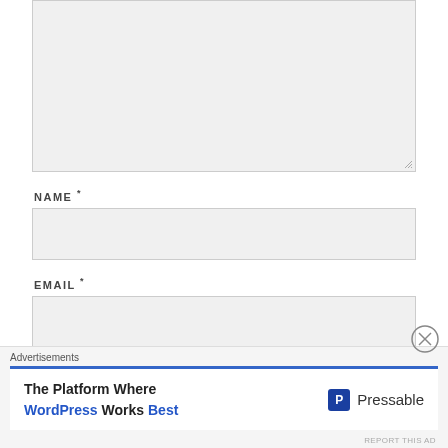[Figure (screenshot): Textarea form field (comment box) with light gray background and resize handle at bottom right]
NAME *
[Figure (screenshot): Name input field, light gray background, single line text box]
EMAIL *
[Figure (screenshot): Email input field, light gray background, single line text box]
WEBSITE
[Figure (screenshot): Advertisement overlay: 'The Platform Where WordPress Works Best' - Pressable ad with blue header bar and close button]